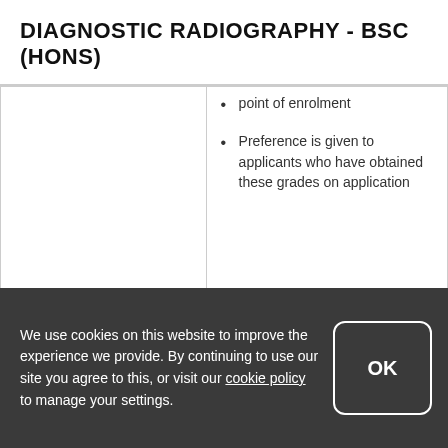DIAGNOSTIC RADIOGRAPHY - BSC (HONS)
|  |  |
| --- | --- |
|  | point of enrolment
• Preference is given to applicants who have obtained these grades on application |
| IELTS | • Applicants who |
We use cookies on this website to improve the experience we provide. By continuing to use our site you agree to this, or visit our cookie policy to manage your settings.